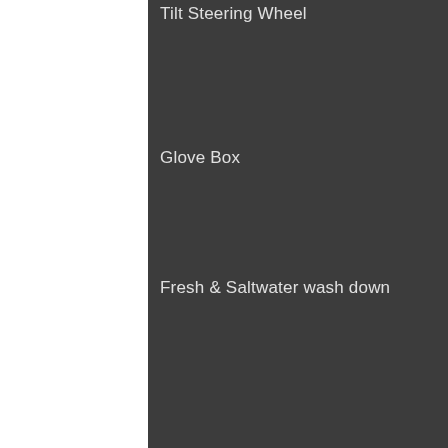Tilt Steering Wheel
Glove Box
Fresh & Saltwater wash down
Underwater lights
Custom dive platform/ladder
LED Lights
Tackle Stations each side under gunnels